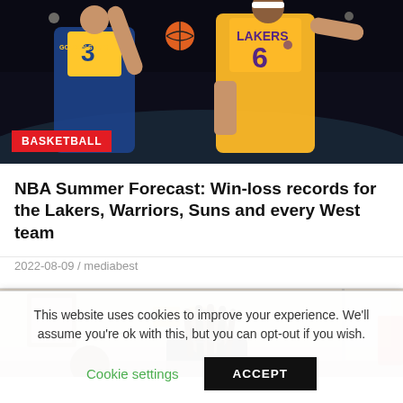[Figure (photo): Basketball game photo showing Golden State Warriors player #3 and Los Angeles Lakers player #6 (LeBron James) reaching for the ball. Red 'BASKETBALL' category label overlaid at bottom left.]
NBA Summer Forecast: Win-loss records for the Lakers, Warriors, Suns and every West team
2022-08-09 / mediabest
[Figure (photo): Photo of a woman with long dreadlocks wearing glasses in what appears to be a courtroom setting.]
This website uses cookies to improve your experience. We'll assume you're ok with this, but you can opt-out if you wish.
Cookie settings  ACCEPT